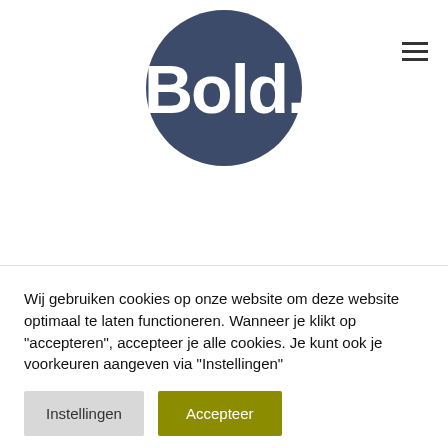[Figure (logo): Bold. logo — white text on dark navy/slate circle background, with 'Bold.' in bold sans-serif font]
Wij gebruiken cookies op onze website om deze website optimaal te laten functioneren. Wanneer je klikt op "accepteren", accepteer je alle cookies. Je kunt ook je voorkeuren aangeven via "Instellingen"
Instellingen
Accepteer